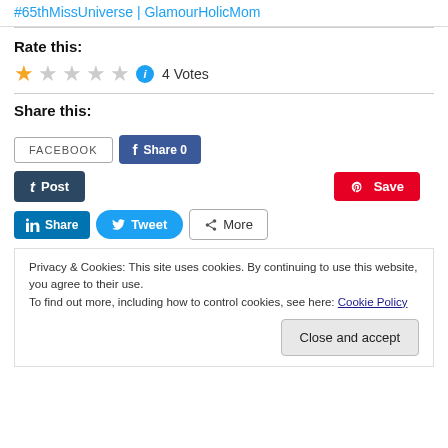#65thMissUniverse | GlamourHolicMom
Rate this:
1 star (filled), 4 empty stars, 4 Votes
Share this:
[Figure (screenshot): Social share buttons: FACEBOOK outline button, Facebook Share 0 blue button, Tumblr Post dark button, Pinterest Save red button, LinkedIn Share blue button, Twitter Tweet blue pill button, More gray button]
Privacy & Cookies: This site uses cookies. By continuing to use this website, you agree to their use. To find out more, including how to control cookies, see here: Cookie Policy
Close and accept